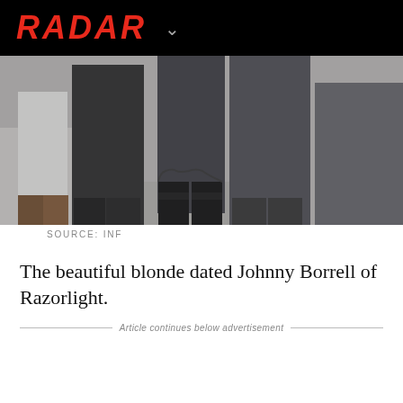RADAR
[Figure (photo): Close-up photo of people's legs and feet walking on a sidewalk; the central figure wears dark jeans and black cowboy boots, another person wears dark trousers, another in lighter clothing is partially visible on the left. Black and white / desaturated photo.]
SOURCE: INF
The beautiful blonde dated Johnny Borrell of Razorlight.
Article continues below advertisement